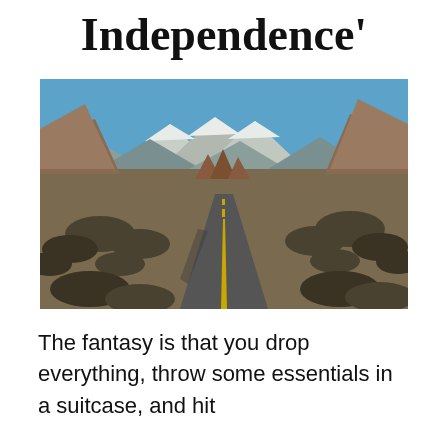Independence'
[Figure (photo): A road stretching into the distance through a landscape of red rock formations and dry scrubland, with snow-capped mountains visible under a blue sky in the background.]
The fantasy is that you drop everything, throw some essentials in a suitcase, and hit